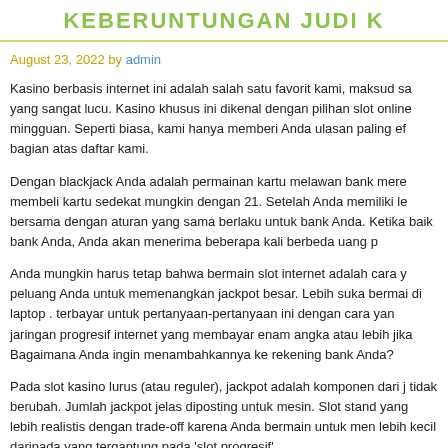KEBERUNTUNGAN JUDI K
August 23, 2022 by admin
Kasino berbasis internet ini adalah salah satu favorit kami, maksud sa yang sangat lucu. Kasino khusus ini dikenal dengan pilihan slot online mingguan. Seperti biasa, kami hanya memberi Anda ulasan paling ef bagian atas daftar kami.
Dengan blackjack Anda adalah permainan kartu melawan bank mere membeli kartu sedekat mungkin dengan 21. Setelah Anda memiliki le bersama dengan aturan yang sama berlaku untuk bank Anda. Ketika baik bank Anda, Anda akan menerima beberapa kali berbeda uang p
Anda mungkin harus tetap bahwa bermain slot internet adalah cara y peluang Anda untuk memenangkan jackpot besar. Lebih suka bermai di laptop . terbayar untuk pertanyaan-pertanyaan ini dengan cara yan jaringan progresif internet yang membayar enam angka atau lebih jika Bagaimana Anda ingin menambahkannya ke rekening bank Anda?
Pada slot kasino lurus (atau reguler), jackpot adalah komponen dari j tidak berubah. Jumlah jackpot jelas diposting untuk mesin. Slot stand yang lebih realistis dengan trade-off karena Anda bermain untuk men lebih kecil daripada yang tergantung pada 'slot progresif'.